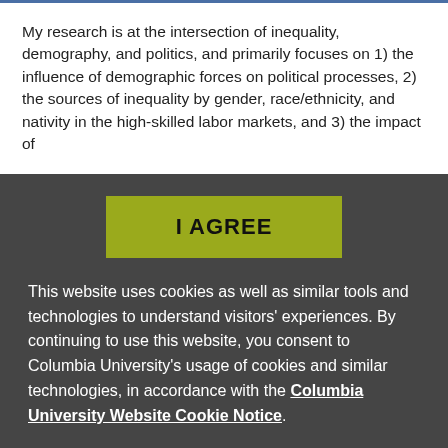My research is at the intersection of inequality, demography, and politics, and primarily focuses on 1) the influence of demographic forces on political processes, 2) the sources of inequality by gender, race/ethnicity, and nativity in the high-skilled labor markets, and 3) the impact of
I AGREE
This website uses cookies as well as similar tools and technologies to understand visitors' experiences. By continuing to use this website, you consent to Columbia University's usage of cookies and similar technologies, in accordance with the Columbia University Website Cookie Notice.